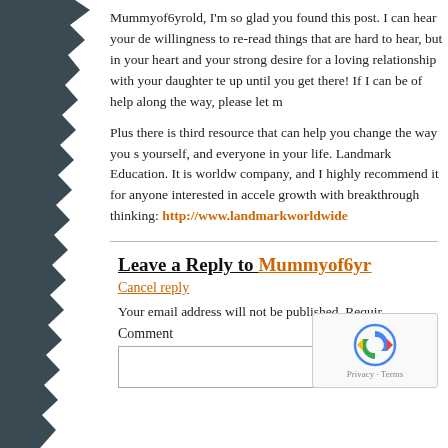Mummyof6yrold, I'm so glad you found this post. I can hear your de... willingness to re-read things that are hard to hear, but in your heart ... and your strong desire for a loving relationship with your daughter te... up until you get there! If I can be of help along the way, please let m...
Plus there is third resource that can help you change the way you s... yourself, and everyone in your life. Landmark Education. It is worldw... company, and I highly recommend it for anyone interested in accele... growth with breakthrough thinking: http://www.landmarkworldwide...
Leave a Reply to Mummyof6yr...
Cancel reply
Your email address will not be published. Requir...
Comment